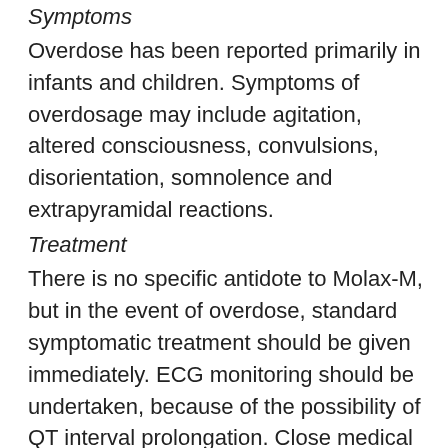Symptoms
Overdose has been reported primarily in infants and children. Symptoms of overdosage may include agitation, altered consciousness, convulsions, disorientation, somnolence and extrapyramidal reactions.
Treatment
There is no specific antidote to Molax-M, but in the event of overdose, standard symptomatic treatment should be given immediately. ECG monitoring should be undertaken, because of the possibility of QT interval prolongation. Close medical supervision and supportive therapy is recommended.
Anticholinergic, anti-parkinson drugs may be helpful in controlling the extrapyramidal reactions.